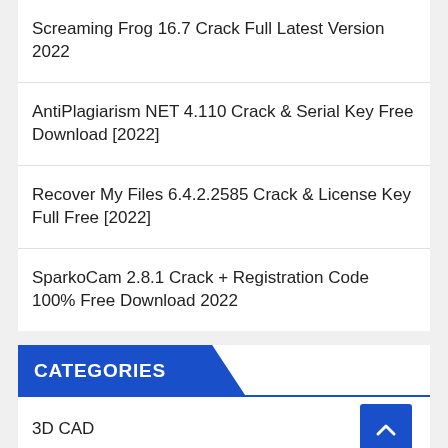Screaming Frog 16.7 Crack Full Latest Version 2022
AntiPlagiarism NET 4.110 Crack & Serial Key Free Download [2022]
Recover My Files 6.4.2.2585 Crack & License Key Full Free [2022]
SparkoCam 2.8.1 Crack + Registration Code 100% Free Download 2022
CATEGORIES
3D CAD